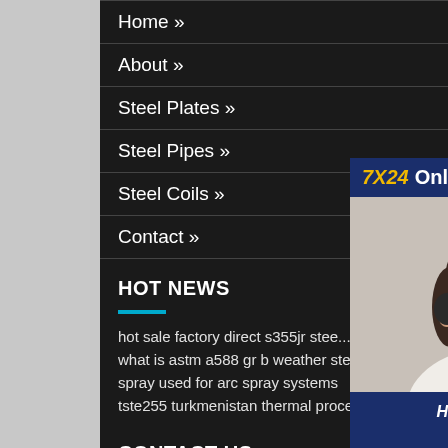Home »
About »
Steel Plates »
Steel Pipes »
Steel Coils »
Contact »
[Figure (photo): Customer service representative with headset smiling, with 7X24 Online banner and Hello,may I help you? message and Get Latest Price button]
HOT NEWS
hot sale factory direct s355jr stee...
what is astm a588 gr b weather steel mill
spray used for arc spray systems
tste255 turkmenistan thermal processing
CONTACT US